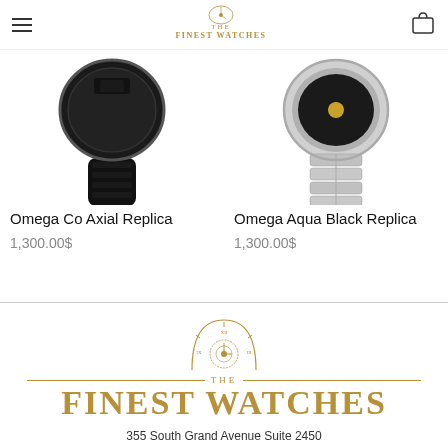The Finest Watches
[Figure (photo): Omega Co Axial Replica watch with black rubber strap, partial view from below]
Omega Co Axial Replica
1,300.00$
[Figure (photo): Omega Aqua Black Replica watch with steel bracelet, partial view from below]
Omega Aqua Black Replica
1,300.00$
[Figure (logo): The Finest Watches logo with clock emblem, gold color]
355 South Grand Avenue Suite 2450